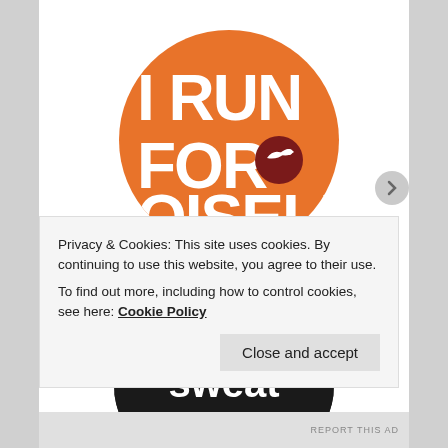[Figure (logo): Orange circular badge with white bold text reading 'I RUN FOR OISELLE' with a bird icon, partially cropped on left edge]
[Figure (logo): Black circular badge with text 'i am a sweat pink' - 'sweat' in white bold, 'pink' in magenta/hot pink bold]
Privacy & Cookies: This site uses cookies. By continuing to use this website, you agree to their use.
To find out more, including how to control cookies, see here: Cookie Policy
Close and accept
REPORT THIS AD